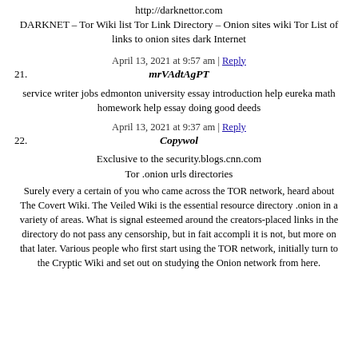http://darknettor.com
DARKNET – Tor Wiki list Tor Link Directory – Onion sites wiki Tor List of links to onion sites dark Internet
April 13, 2021 at 9:57 am | Reply
21. mrVAdtAgPT
service writer jobs edmonton university essay introduction help eureka math homework help essay doing good deeds
April 13, 2021 at 9:37 am | Reply
22. Copywol
Exclusive to the security.blogs.cnn.com
Tor .onion urls directories
Surely every a certain of you who came across the TOR network, heard about The Covert Wiki. The Veiled Wiki is the essential resource directory .onion in a variety of areas. What is signal esteemed around the creators-placed links in the directory do not pass any censorship, but in fait accompli it is not, but more on that later. Various people who first start using the TOR network, initially turn to the Cryptic Wiki and set out on studying the Onion network from here.